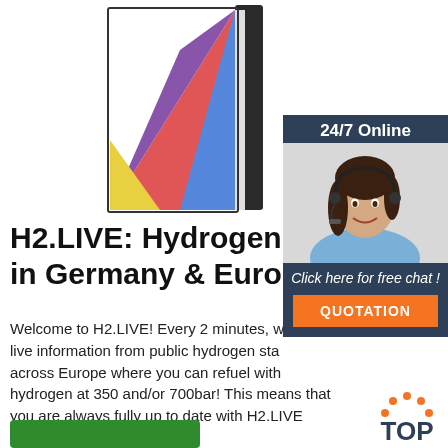[Figure (illustration): Colorful book illustration with sections in red, blue, purple, and yellow on a dark spine]
[Figure (infographic): 24/7 Online chat widget with a female customer service agent wearing a headset, dark blue background, 'Click here for free chat!' text, and orange QUOTATION button]
H2.LIVE: Hydrogen Stations in Germany & Europe
Welcome to H2.LIVE! Every 2 minutes, we update live information from public hydrogen stations across Europe where you can refuel with hydrogen at 350 and/or 700bar! This means that you are always fully up to date with H2.LIVE online ( www.h2.live ) or …
[Figure (logo): TOP logo with orange dots arranged in a circle above the word TOP in dark blue]